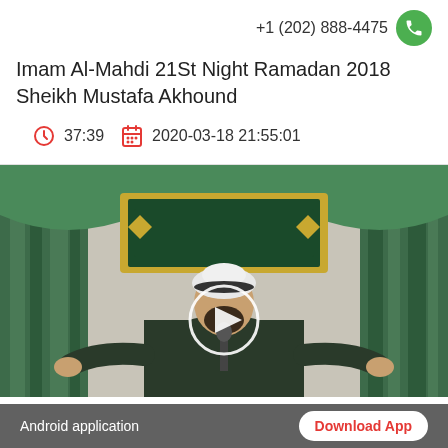+1 (202) 888-4475
Imam Al-Mahdi 21St Night Ramadan 2018 Sheikh Mustafa Akhound
37:39   2020-03-18 21:55:01
[Figure (photo): Video thumbnail showing a cleric in dark robes and white turban speaking at a microphone in front of green decorative drapes and an Arabic calligraphy sign, with a white circular play button overlay in the center]
Android application
Download App